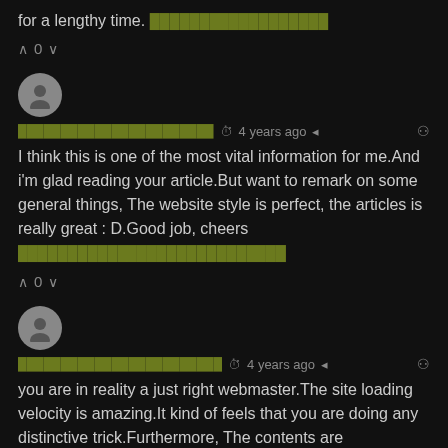for a lengthy time. [obfuscated text]
∧ 0 ∨
[Figure (illustration): User avatar circle with person silhouette icon]
[obfuscated username]  ⏱ 4 years ago  ◀  🔗
I think this is one of the most vital information for me.And i'm glad reading your article.But want to remark on some general things, The website style is perfect, the articles is really great : D.Good job, cheers [obfuscated text]
∧ 0 ∨
[Figure (illustration): User avatar circle with person silhouette icon]
[obfuscated username]  ⏱ 4 years ago  ◀  🔗
you are in reality a just right webmaster.The site loading velocity is amazing.It kind of feels that you are doing any distinctive trick.Furthermore, The contents are masterpiece.you have done a excellent activity in this topic!